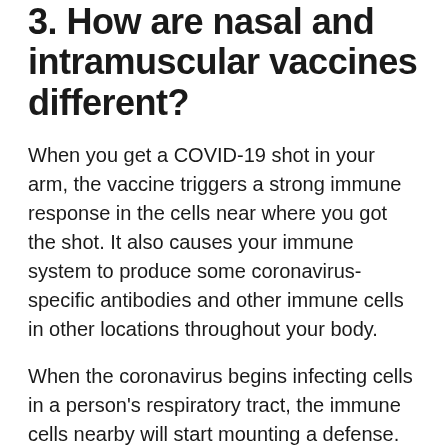3. How are nasal and intramuscular vaccines different?
When you get a COVID-19 shot in your arm, the vaccine triggers a strong immune response in the cells near where you got the shot. It also causes your immune system to produce some coronavirus-specific antibodies and other immune cells in other locations throughout your body.
When the coronavirus begins infecting cells in a person's respiratory tract, the immune cells nearby will start mounting a defense. Your body will also send anti-viral immune cells and antibodies from other locations to the site of infection. But by the time enough coronavirus-specific immune cells